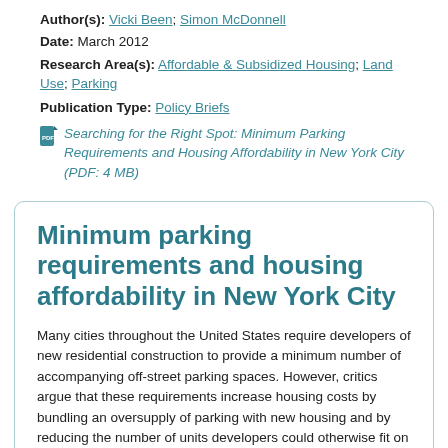Author(s): Vicki Been; Simon McDonnell
Date: March 2012
Research Area(s): Affordable & Subsidized Housing; Land Use; Parking
Publication Type: Policy Briefs
Searching for the Right Spot: Minimum Parking Requirements and Housing Affordability in New York City (PDF: 4 MB)
Minimum parking requirements and housing affordability in New York City
Many cities throughout the United States require developers of new residential construction to provide a minimum number of accompanying off-street parking spaces. However, critics argue that these requirements increase housing costs by bundling an oversupply of parking with new housing and by reducing the number of units developers could otherwise fit on a given lot. In this article, we explore the theoretical objections to minimum parking requirements and the limited empirical literature. We th...